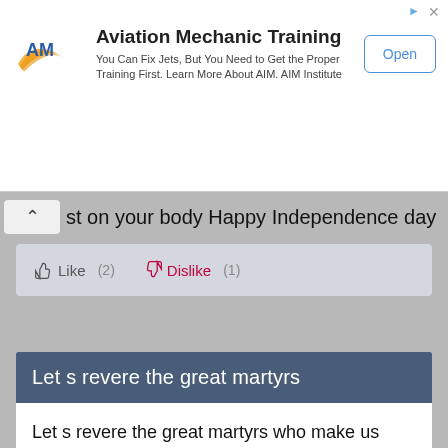[Figure (screenshot): Advertisement banner for Aviation Mechanic Training by AIM Institute. Shows AIM logo, ad title, description, and Open button.]
st on your body Happy Independence day
Like (2)   Dislike (1)
Let s revere the great martyrs
Let s revere the great martyrs who make us enjoy the freedom by sacrificing their lives Happy 15 August